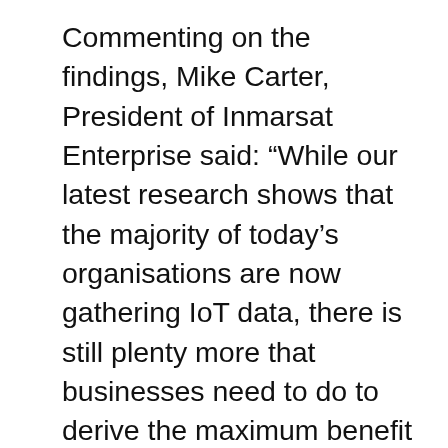Commenting on the findings, Mike Carter, President of Inmarsat Enterprise said: “While our latest research shows that the majority of today’s organisations are now gathering IoT data, there is still plenty more that businesses need to do to derive the maximum benefit from it. The ultimate measure of an IoT project’s success is how it improves the way a company and its partner eco-system operates. This is largely resultant on the type of data extracted and how it is shared and turned into practical and